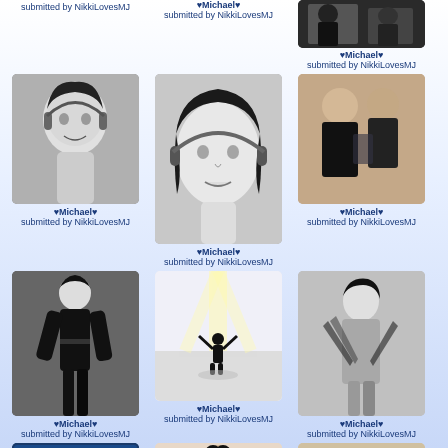submitted by NikkiLovesMJ
♥Michael♥
submitted by NikkiLovesMJ
[Figure (photo): Black and white photo of Michael Jackson performing]
♥Michael♥
submitted by NikkiLovesMJ
[Figure (photo): Black and white portrait of Michael Jackson with headphones]
♥Michael♥
submitted by NikkiLovesMJ
[Figure (photo): Black and white close-up portrait of Michael Jackson]
♥Michael♥
submitted by NikkiLovesMJ
[Figure (photo): Color photo of Michael Jackson with someone]
♥Michael♥
submitted by NikkiLovesMJ
[Figure (photo): Black and white photo of Michael Jackson in black outfit performing]
♥Michael♥
submitted by NikkiLovesMJ
[Figure (photo): Color photo of Michael Jackson performing on stage with light effects]
♥Michael♥
submitted by NikkiLovesMJ
[Figure (photo): Silver/black and white photo of Michael Jackson dancing with claw-like effects]
♥Michael♥
submitted by NikkiLovesMJ
[Figure (photo): Blue tinted photo of two people on screen]
[Figure (photo): Color photo of Michael Jackson in fur-trimmed outfit]
[Figure (photo): Color photo of Michael Jackson dancing in room]